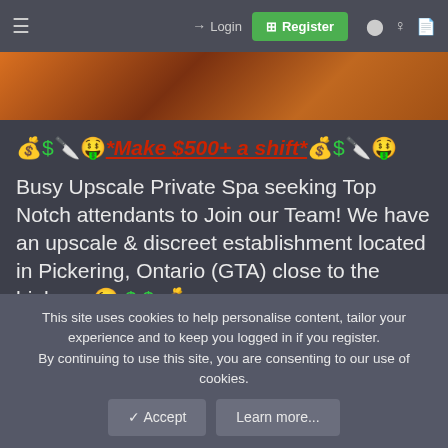Login | Register
[Figure (photo): Hero image with orange/brown background, partially visible]
💰 $ 🔪 🤑 *Make $500+ a shift* 💰 $ 🔪 🤑
Busy Upscale Private Spa seeking Top Notch attendants to Join our Team! We have an upscale & discreet establishment located in Pickering, Ontario (GTA) close to the highway😉 $ $ 💰
This site uses cookies to help personalise content, tailor your experience and to keep you logged in if you register.
By continuing to use this site, you are consenting to our use of cookies.